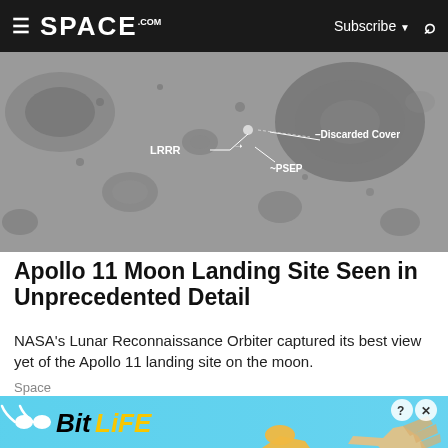≡ SPACE.com   Subscribe ▼  🔍
[Figure (photo): Black and white aerial image of the Apollo 11 Moon landing site taken by NASA's Lunar Reconnaissance Orbiter, showing craters and annotated labels: LRRR, Discarded Cover, PSEP]
Apollo 11 Moon Landing Site Seen in Unprecedented Detail
NASA's Lunar Reconnaissance Orbiter captured its best view yet of the Apollo 11 landing site on the moon.
Space
[Figure (screenshot): BitLife advertisement banner with blue background reading: BitLife NOW WITH GOD MODE, with cartoon hand pointing graphic and close/question buttons]